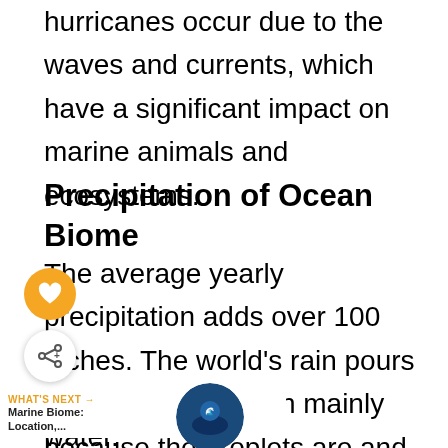hurricanes occur due to the waves and currents, which have a significant impact on marine animals and ecosystems.
Precipitation of Ocean Biome
The average yearly precipitation adds over 100 inches. The world's rain pours over the Ocean mainly because the droplets are and the Biome is made up of water.